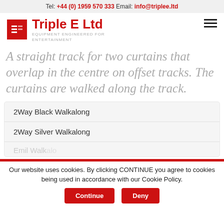Tel: +44 (0) 1959 570 333 Email: info@triplee.ltd
Triple E Ltd
EQUIPMENT ENGINEERED FOR ENTERTAINMENT
A straight track for two curtains that overlap in the centre on offset tracks. The curtains are walked along the track.
2Way Black Walkalong
2Way Silver Walkalong
Emil Walkal...
Our website uses cookies. By clicking CONTINUE you agree to cookies being used in accordance with our Cookie Policy.